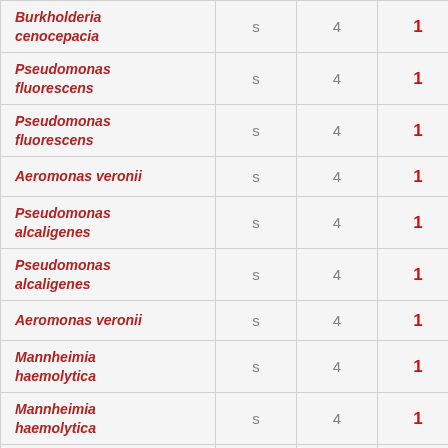| Burkholderia cenocepacia | s | 4 | 1 |
| Pseudomonas fluorescens | s | 4 | 1 |
| Pseudomonas fluorescens | s | 4 | 1 |
| Aeromonas veronii | s | 4 | 1 |
| Pseudomonas alcaligenes | s | 4 | 1 |
| Pseudomonas alcaligenes | s | 4 | 1 |
| Aeromonas veronii | s | 4 | 1 |
| Mannheimia haemolytica | s | 4 | 1 |
| Mannheimia haemolytica | s | 4 | 1 |
| Klebsiella variicola | s | 4 | 1 |
| [Haemophilus] | p | 0 | 2 |